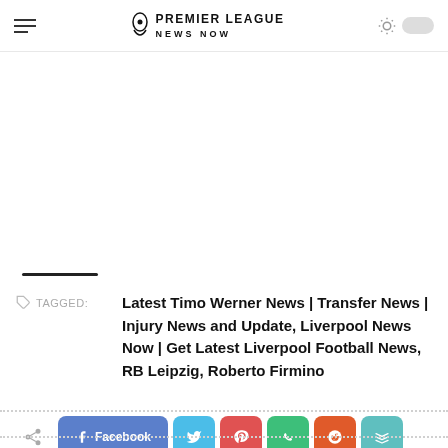PREMIER LEAGUE NEWS NOW
TAGGED: Latest Timo Werner News | Transfer News | Injury News and Update, Liverpool News Now | Get Latest Liverpool Football News, RB Leipzig, Roberto Firmino
Share buttons: Facebook, Twitter, Pinterest, WhatsApp, Reddit, Buffer